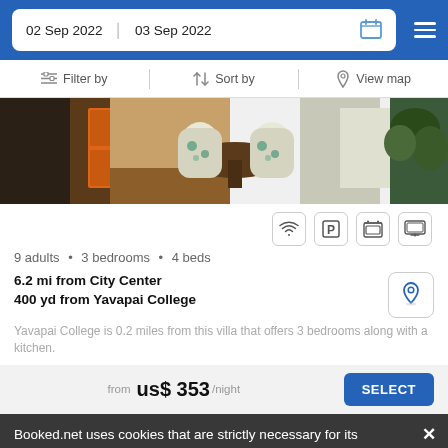02 Sep 2022  03 Sep 2022
Filter by  Sort by  View map
[Figure (photo): Interior photo of a dining area with round table, patterned chairs, orange furniture, and green plant]
9 adults • 3 bedrooms • 4 beds
6.2 mi from City Center
400 yd from Yavapai College
Yavapai College is 0.2 miles from this villa that offers 3 bedrooms along with a kitchen.
from US$ 353/night
Booked.net uses cookies that are strictly necessary for its functioning. We do not collect analytical and marketing cookies.
West Sedona House With Deck And View...